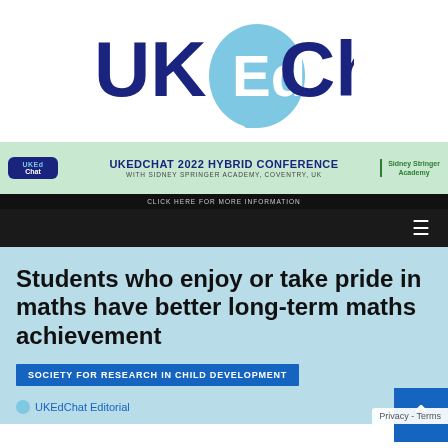[Figure (logo): UKEdChat logo: dark blue bold text 'UK' and 'Chat' with a light blue speech bubble containing 'Ed' in white]
[Figure (infographic): UKEdChat 2022 Hybrid Conference banner with green background, UKEd logo, Sidney Stringer Academy branding, and black bar with click here text]
Students who enjoy or take pride in maths have better long-term maths achievement
SOCIETY FOR RESEARCH IN CHILD DEVELOPMENT
UKEdChat Editorial